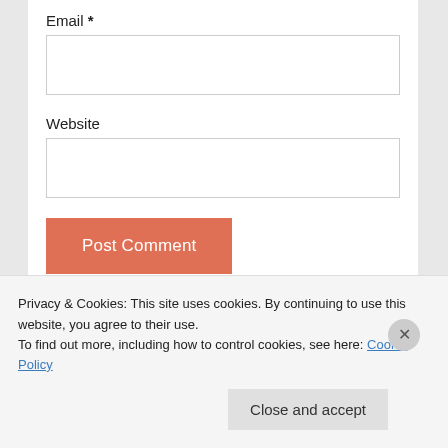Email *
[Figure (other): Empty text input field for Email]
Website
[Figure (other): Empty text input field for Website]
Post Comment
Notify me of new comments via email.
Privacy & Cookies: This site uses cookies. By continuing to use this website, you agree to their use.
To find out more, including how to control cookies, see here: Cookie Policy
Close and accept